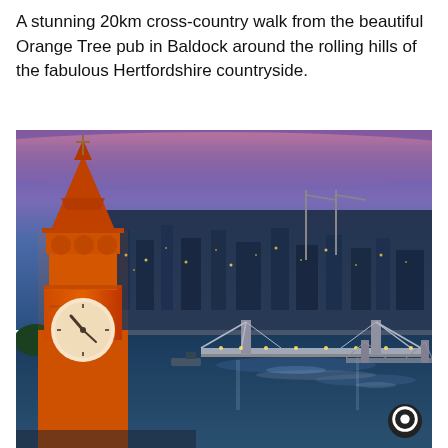A stunning 20km cross-country walk from the beautiful Orange Tree pub in Baldock around the rolling hills of the fabulous Hertfordshire countryside.
[Figure (photo): Aerial night-time photograph of Big Ben (Elizabeth Tower) illuminated in orange/gold, with the River Thames, Albert Bridge lit up, and the London cityscape under a blue-purple twilight sky with pink clouds.]